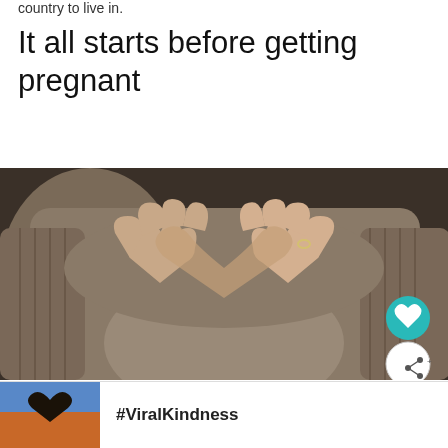country to live in.
It all starts before getting pregnant
[Figure (photo): A pregnant woman making a heart shape with both hands over her baby bump, wearing a brown ribbed sweater and a ring on her right hand. Dark moody background.]
[Figure (screenshot): Advertisement bar at the bottom of the page showing a person making a heart shape with hands against a sunset background, with the text #ViralKindness and a weather/app logo on the right. Has a close (X) button.]